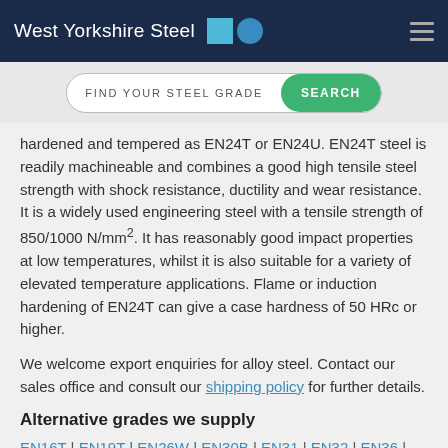West Yorkshire Steel
FIND YOUR STEEL GRADE  SEARCH
hardened and tempered as EN24T or EN24U. EN24T steel is readily machineable and combines a good high tensile steel strength with shock resistance, ductility and wear resistance. It is a widely used engineering steel with a tensile strength of 850/1000 N/mm². It has reasonably good impact properties at low temperatures, whilst it is also suitable for a variety of elevated temperature applications. Flame or induction hardening of EN24T can give a case hardness of 50 HRc or higher.
We welcome export enquiries for alloy steel. Contact our sales office and consult our shipping policy for further details.
Alternative grades we supply
EN16T | EN19T | EN26W | EN30B | EN31 | EN32 | EN36 |